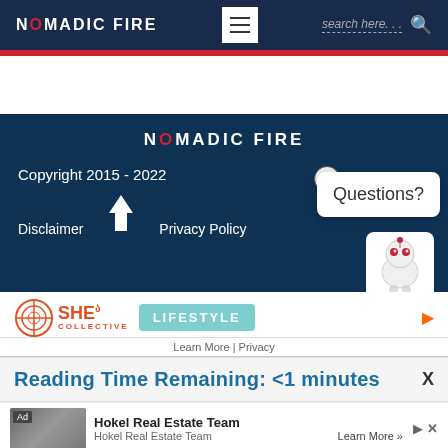NOMADIC FIRE
[Figure (screenshot): Website footer section with Nomadic FIRE logo, copyright notice, disclaimer and privacy policy links, chat widget with Questions? bubble and robot icon]
[Figure (logo): SHE COLLECTIVE LIFESTYLE advertisement banner]
Learn More | Privacy
Reading Time Remaining: <1 minutes
[Figure (photo): Hokel Real Estate Team advertisement with group photo]
Hokel Real Estate Team
Hokel Real Estate Team	Learn More >